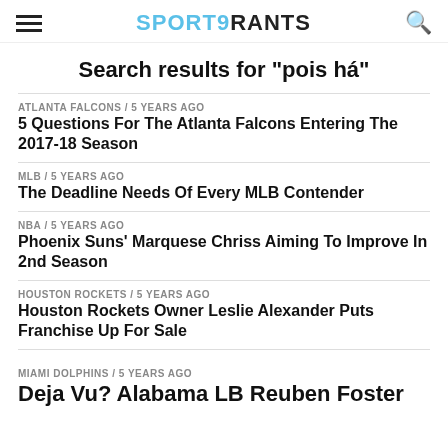SPORTS RANTS
Search results for "pois há"
ATLANTA FALCONS / 5 years ago
5 Questions For The Atlanta Falcons Entering The 2017-18 Season
MLB / 5 years ago
The Deadline Needs Of Every MLB Contender
NBA / 5 years ago
Phoenix Suns' Marquese Chriss Aiming To Improve In 2nd Season
HOUSTON ROCKETS / 5 years ago
Houston Rockets Owner Leslie Alexander Puts Franchise Up For Sale
MIAMI DOLPHINS / 5 years ago
Deja Vu? Alabama LB Reuben Foster